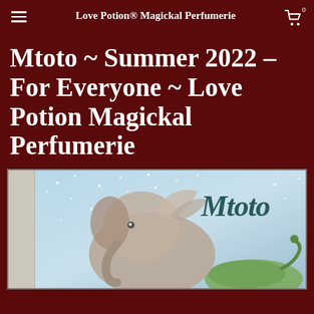Love Potion® Magickal Perfumerie
Mtoto ~ Summer 2022 - For Everyone ~ Love Potion Magickal Perfumerie
[Figure (illustration): Product label illustration showing a fantasy creature (elephant-like with wings/fins) in a watercolor style against a light blue background with white dots/stars. Text on label reads 'Mtoto' in decorative script. Left sidebar strip shows 'Fac - ©2022' written vertically.]